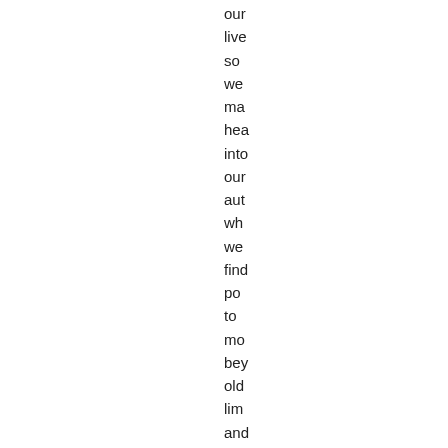our live so we ma hea into our aut wh we find po to mo bey old lim and fea into our not and kin